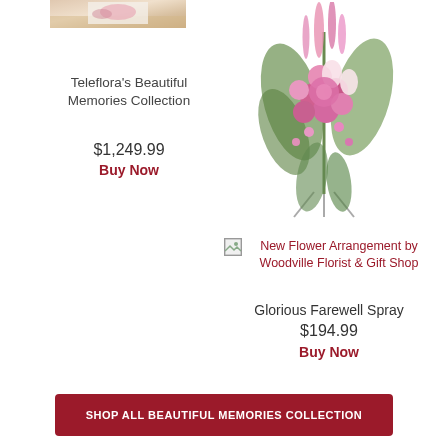[Figure (photo): Partial photo of flower arrangement in a room/chapel, cropped at top]
Teleflora's Beautiful Memories Collection
$1,249.99
Buy Now
[Figure (photo): Pink flower standing spray arrangement on an easel with pink roses, lilies, and greenery]
[Figure (photo): Broken/missing image icon for New Flower Arrangement by Woodville Florist & Gift Shop]
New Flower Arrangement by Woodville Florist & Gift Shop
Glorious Farewell Spray
$194.99
Buy Now
SHOP ALL BEAUTIFUL MEMORIES COLLECTION